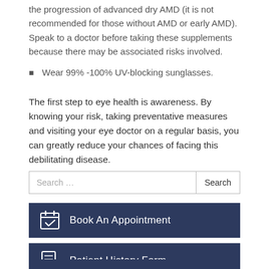the progression of advanced dry AMD (it is not recommended for those without AMD or early AMD). Speak to a doctor before taking these supplements because there may be associated risks involved.
Wear 99%-100% UV-blocking sunglasses.
The first step to eye health is awareness. By knowing your risk, taking preventative measures and visiting your eye doctor on a regular basis, you can greatly reduce your chances of facing this debilitating disease.
Search ...
Book An Appointment
Patient History Form